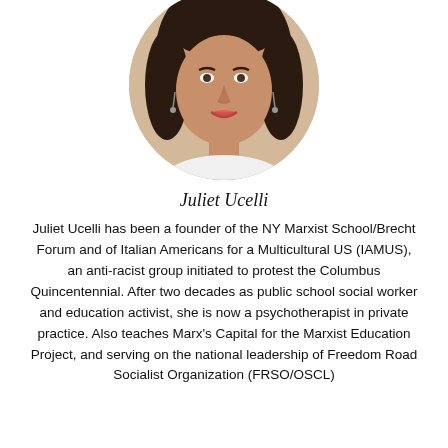[Figure (photo): Circular cropped headshot photo of a woman with dark hair, smiling, wearing earrings, against a light background.]
Juliet Ucelli
Juliet Ucelli has been a founder of the NY Marxist School/Brecht Forum and of Italian Americans for a Multicultural US (IAMUS), an anti-racist group initiated to protest the Columbus Quincentennial. After two decades as public school social worker and education activist, she is now a psychotherapist in private practice. Also teaches Marx's Capital for the Marxist Education Project, and serving on the national leadership of Freedom Road Socialist Organization (FRSO/OSCL)